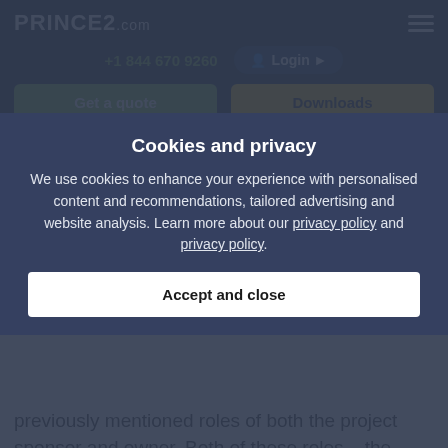PRINCE2.com
+1 844 670 9260
Login
Get a quote
Downloads
organisation.
Idea 4: replace them with more descriptive terms
Cookies and privacy
We use cookies to enhance your experience with personalised content and recommendations, tailored advertising and website analysis. Learn more about our privacy policy and privacy policy.
Accept and close
previously mentioned roles of both the project sponsor and owner. Both of these roles – the executive and senior user – could potentially be combined on smaller projects.